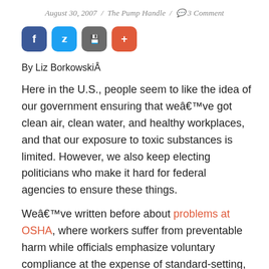August 30, 2007 / The Pump Handle / 3 Comment
[Figure (other): Social media share buttons: Facebook (blue), Twitter (light blue), Save (gray), Plus (orange-red)]
By Liz BorkowskiÂ
Here in the U.S., people seem to like the idea of our government ensuring that we've got clean air, clean water, and healthy workplaces, and that our exposure to toxic substances is limited. However, we also keep electing politicians who make it hard for federal agencies to ensure these things.
We've written before about problems at OSHA, where workers suffer from preventable harm while officials emphasize voluntary compliance at the expense of standard-setting, and at FDA, where a rush to review new drug applications leaves post-market drug safety under-